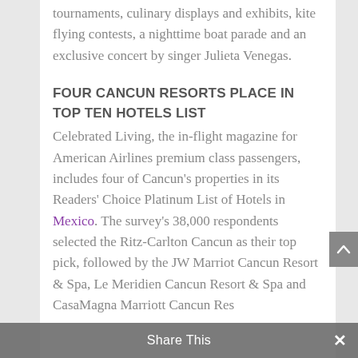tournaments, culinary displays and exhibits, kite flying contests, a nighttime boat parade and an exclusive concert by singer Julieta Venegas.
FOUR CANCUN RESORTS PLACE IN TOP TEN HOTELS LIST
Celebrated Living, the in-flight magazine for American Airlines premium class passengers, includes four of Cancun's properties in its Readers' Choice Platinum List of Hotels in Mexico. The survey's 38,000 respondents selected the Ritz-Carlton Cancun as their top pick, followed by the JW Marriot Cancun Resort & Spa, Le Meridien Cancun Resort & Spa and CasaMagna Marriott Cancun Resort, third and
Share This ×